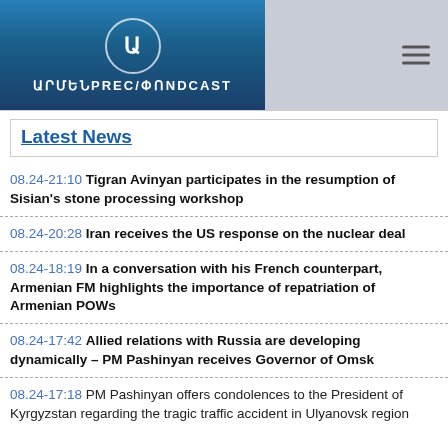[Figure (logo): ArmenPress/Podcast logo with Armenian text on blue background, circular emblem with Armenian letters, and hamburger menu icon on grey bar]
Latest News
08.24-21:10 Tigran Avinyan participates in the resumption of Sisian's stone processing workshop
08.24-20:28 Iran receives the US response on the nuclear deal
08.24-18:19 In a conversation with his French counterpart, Armenian FM highlights the importance of repatriation of Armenian POWs
08.24-17:42 Allied relations with Russia are developing dynamically – PM Pashinyan receives Governor of Omsk
08.24-17:18 PM Pashinyan offers condolences to the President of Kyrgyzstan regarding the tragic traffic accident in Ulyanovsk region